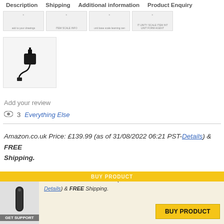Description | Shipping | Additional information | Product Enquiry
[Figure (photo): Thumbnail strip of 4 product images]
[Figure (photo): Product image: power adapter/charger with cable]
Add your review
3  Everything Else
Amazon.co.uk Price: £139.99 (as of 31/08/2022 06:21 PST- Details) & FREE Shipping.
[Figure (photo): Small product image thumbnail at bottom (Amazon Echo device)]
Amazon.co.uk Price: £139.99 (as of 31/08/2022 06:21 PST- Details) & FREE Shipping.
BUY PRODUCT
GET SUPPORT
BUY PRODUCT